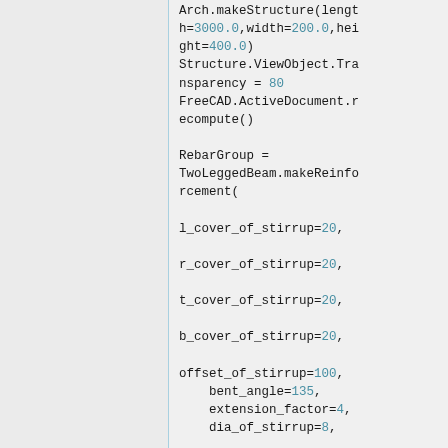Arch.makeStructure(length=3000.0,width=200.0,height=400.0)
Structure.ViewObject.Transparency = 80
FreeCAD.ActiveDocument.recompute()

RebarGroup = TwoLeggedBeam.makeReinforcement(

l_cover_of_stirrup=20,

r_cover_of_stirrup=20,

t_cover_of_stirrup=20,

b_cover_of_stirrup=20,

offset_of_stirrup=100,
    bent_angle=135,
    extension_factor=4,
    dia_of_stirrup=8,